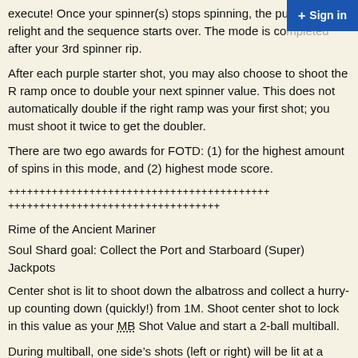execute! Once your spinner(s) stops spinning, the purple shots relight and the sequence starts over. The mode is completed after your 3rd spinner rip.
After each purple starter shot, you may also choose to shoot the R ramp once to double your next spinner value. This does not automatically double if the right ramp was your first shot; you must shoot it twice to get the doubler.
There are two ego awards for FOTD: (1) for the highest amount of spins in this mode, and (2) highest mode score.
++++++++++++++++++++++++++++++++++++++++++++++++++++++++++++++
Rime of the Ancient Mariner
Soul Shard goal: Collect the Port and Starboard (Super) Jackpots
Center shot is lit to shoot down the albatross and collect a hurry-up counting down (quickly!) from 1M. Shoot center shot to lock in this value as your MB Shot Value and start a 2-ball multiball.
During multiball, one side’s shots (left or right) will be lit at a time. Shoot the lit shots to score your Shot Value (+500K increments) and move the lit shots toward the center, until the Ctr Ramp is lit for a bulls-eye shot. Progress is on a timer, so if you go too long without making another shot, your ship (and